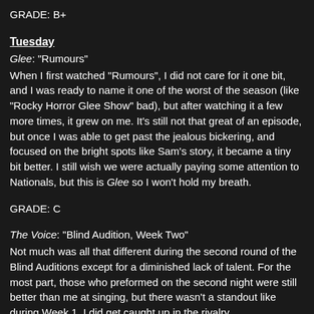GRADE: B+
Tuesday
Glee: "Rumours"
When I first watched "Rumours", I did not care for it one bit, and I was ready to name it one of the worst of the season (like "Rocky Horror Glee Show" bad), but after watching it a few more times, it grew on me. It's still not that great of an episode, but once I was able to get past the jealous bickering, and focused on the bright spots like Sam's story, it became a tiny bit better. I still wish we were actually paying some attention to Nationals, but this is Glee so I won't hold my breath.
GRADE: C
The Voice: "Blind Audition, Week Two"
Not much was all that different during the second round of the Blind Auditions except for a diminished lack of talent. For the most part, those who preformed on the second night were still better than me at singing, but there wasn't a standout like during Week 1. I did get caught up in the rivalry